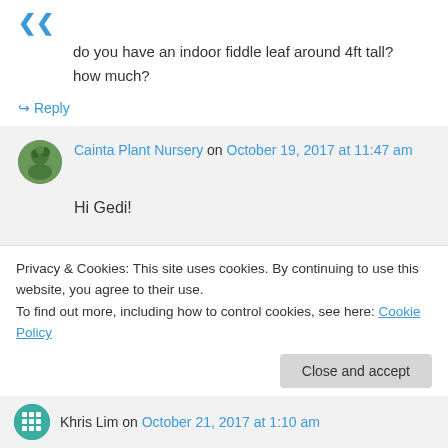do you have an indoor fiddle leaf around 4ft tall? how much?
↳ Reply
Cainta Plant Nursery on October 19, 2017 at 11:47 am
Hi Gedi!
We have sent a reply to your email. 🙂
Privacy & Cookies: This site uses cookies. By continuing to use this website, you agree to their use.
To find out more, including how to control cookies, see here: Cookie Policy
Close and accept
Khris Lim on October 21, 2017 at 1:10 am